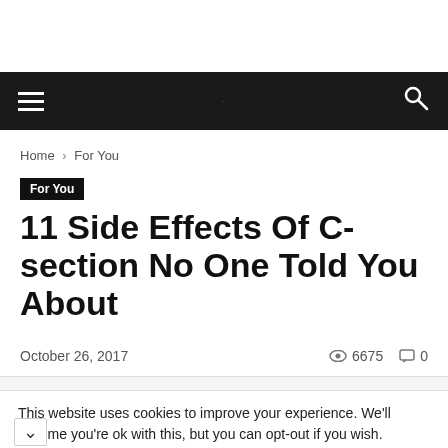Home › For You
For You
11 Side Effects Of C-section No One Told You About
October 26, 2017   👁 6675   💬 0
This website uses cookies to improve your experience. We'll assume you're ok with this, but you can opt-out if you wish.
[Figure (infographic): Advertisement banner for Kynix - Integrated Circuits Supplier with Get Quote button]